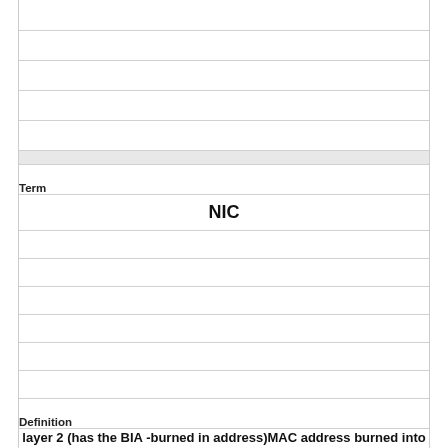| Term | Definition |
| --- | --- |
| NIC | layer 2 (has the BIA -burned in address)MAC address burned into the NIC |